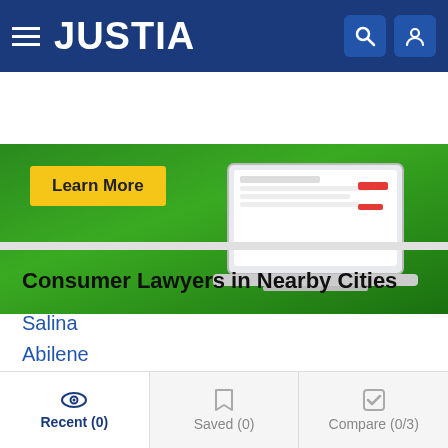JUSTIA
[Figure (screenshot): Justia website banner with green background, Learn More button, and laptop mockup]
Consumer Lawyers in Nearby Cities
Salina
Abilene
McPherson
Junction City
Fort Riley
Concordia
Recent (0)  Saved (0)  Compare (0/3)